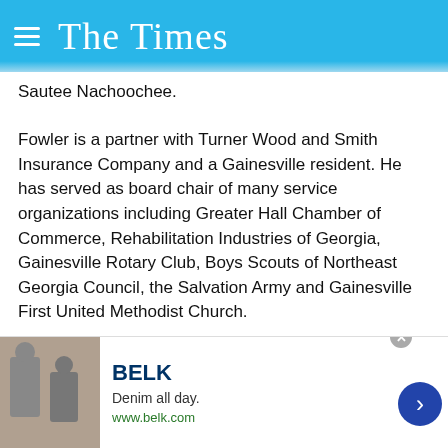The Times
Sautee Nachoochee.
Fowler is a partner with Turner Wood and Smith Insurance Company and a Gainesville resident. He has served as board chair of many service organizations including Greater Hall Chamber of Commerce, Rehabilitation Industries of Georgia, Gainesville Rotary Club, Boys Scouts of Northeast Georgia Council, the Salvation Army and Gainesville First United Methodist Church.
A partner with the Gainesville accounting firm Bates Carter,
Hopkins has volunteered with several organizations including
[Figure (other): Advertisement for BELK department store. Shows 'BELK' logo in dark blue, tagline 'Denim all day.', url 'www.belk.com', with fashion imagery on the left side.]